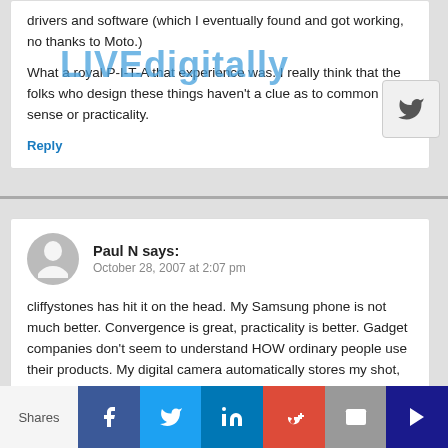drivers and software (which I eventually found and got working, no thanks to Moto.)
What a royal P-I-T-A that experience was. I really think that the folks who design these things haven't a clue as to common sense or practicality.
Reply
Paul N says:
October 28, 2007 at 2:07 pm
cliffystones has hit it on the head. My Samsung phone is not much better. Convergence is great, practicality is better. Gadget companies don't seem to understand HOW ordinary people use their products. My digital camera automatically stores my shot, why doesn't my
Shares